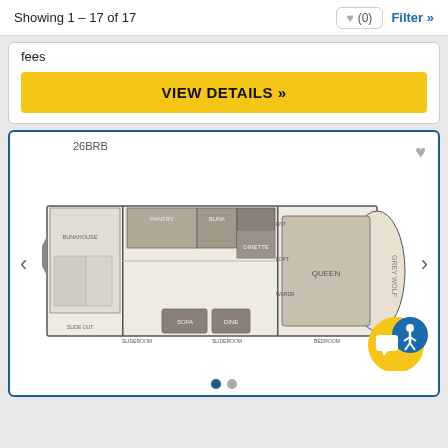Showing 1 – 17 of 17
fees
VIEW DETAILS »
26BRB
[Figure (illustration): RV floor plan diagram for model 26BRB showing a top-down view of the interior layout including bedroom, bathroom, bunk beds, kitchen, and living area with navigation arrows on both sides]
• •